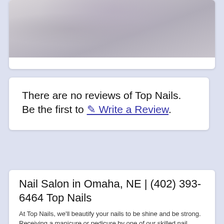[Figure (photo): Close-up photo of fingernails with glittery/iridescent nail polish on a light background]
There are no reviews of Top Nails.
Be the first to ✎ Write a Review.
Nail Salon in Omaha, NE | (402) 393-6464 Top Nails
At Top Nails, we'll beautify your nails to be shine and be strong. Receiving a manicure or pedicure by one of our skilled nail technicians is a surefire way to